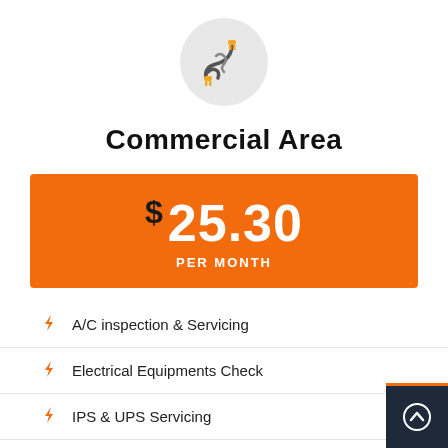[Figure (illustration): Circular gray icon with electrical plug/cable illustration in orange and dark gray]
Commercial Area
$ 25.30 PER MONTH
A/C inspection & Servicing
Electrical Equipments Check
IPS & UPS Servicing